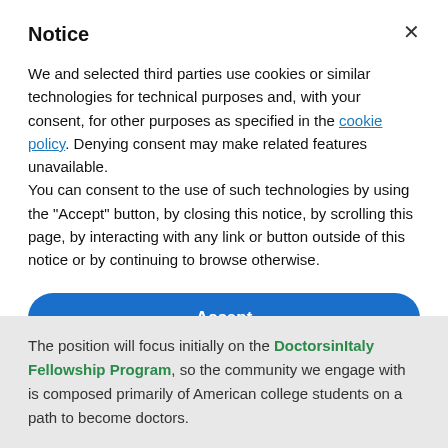Notice
We and selected third parties use cookies or similar technologies for technical purposes and, with your consent, for other purposes as specified in the cookie policy. Denying consent may make related features unavailable.
You can consent to the use of such technologies by using the "Accept" button, by closing this notice, by scrolling this page, by interacting with any link or button outside of this notice or by continuing to browse otherwise.
Accept
Learn more and customize
The position will focus initially on the DoctorsinItaly Fellowship Program, so the community we engage with is composed primarily of American college students on a path to become doctors.